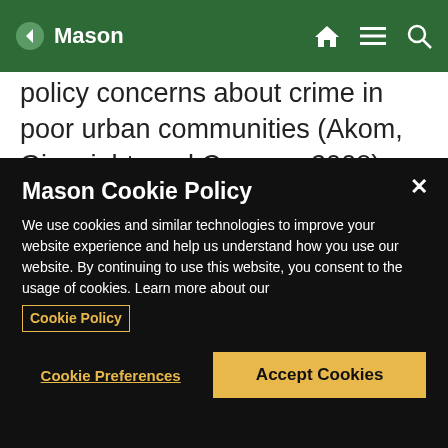Mason
policy concerns about crime in poor urban communities (Akom, Ginwright, and Camma, 2008). When it comes to young people in the city, policy makers too often explain youth crime, delinquency, and violence as individual pathological behavior. There is a growing body of research that explores social bonds, prosocial behavior, networks
Mason Cookie Policy
We use cookies and similar technologies to improve your website experience and help us understand how you use our website. By continuing to use this website, you consent to the usage of cookies. Learn more about our Cookie Policy
Cookie Preferences
Accept Cookies